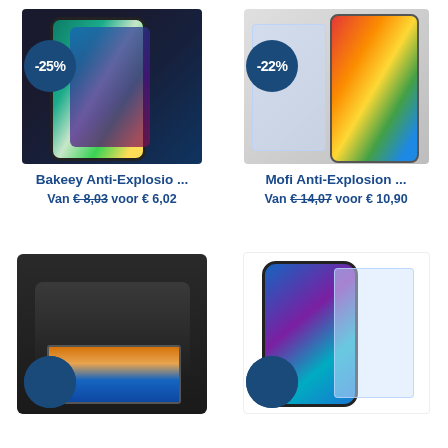[Figure (photo): Samsung Galaxy A80 smartphone with screen protector, showing -25% discount badge]
[Figure (photo): Xiaomi smartphone with anti-explosion screen protector, showing -22% discount badge]
Bakeey Anti-Explosio ...
Mofi Anti-Explosion ...
Van €8,03 voor € 6,02
Van €14,07 voor € 10,90
[Figure (photo): Camera (mirrorless/DSLR) with screen protector film applied, bottom part cut off]
[Figure (photo): Xiaomi smartphone screen protector (tempered glass) product image, bottom part cut off]